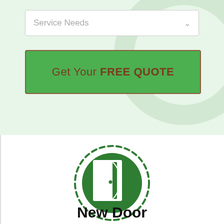Service Needs
Get Your FREE QUOTE
[Figure (illustration): Green circle icon with a white door illustration inside, surrounded by a dashed border circle. Represents 'New Door' service.]
New Door